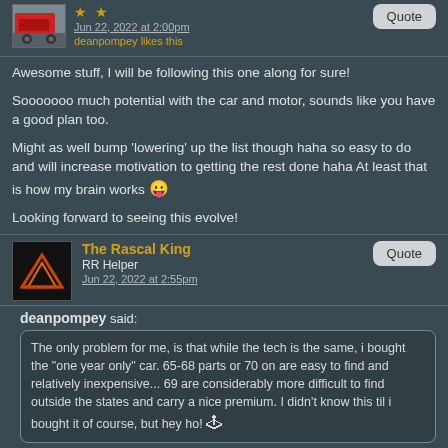Jun 22, 2022 at 2:00pm
deanpompey likes this
Awesome stuff, I will be following this one along for sure!
Sooooooo much potential with the car and motor, sounds like you have a good plan too.
Might as well bump 'lowering' up the list though haha so easy to do and will increase motivation to getting the rest done haha At least that is how my brain works 😛
Looking forward to seeing this evolve!
The Rascal King
RR Helper
Jun 22, 2022 at 2:55pm
deanpompey said:
The only problem for me, is that while the tech is the same, i bought the "one year only" car. 65-68 parts or 70 on are easy to find and relatively inexpensive... 69 are considerably more difficult to find outside the states and carry a nice premium. I didn't know this til i bought it of course, but hey ho! 🕹